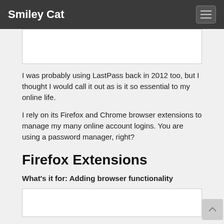Smiley Cat
[Figure (other): Image placeholder at top of content area]
I was probably using LastPass back in 2012 too, but I thought I would call it out as is it so essential to my online life.
I rely on its Firefox and Chrome browser extensions to manage my many online account logins. You are using a password manager, right?
Firefox Extensions
What's it for: Adding browser functionality
[Figure (other): Image placeholder at bottom of content area]